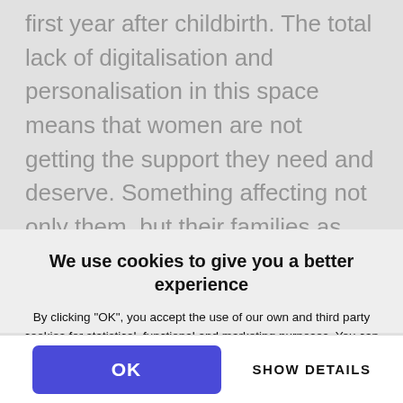first year after childbirth. The total lack of digitalisation and personalisation in this space means that women are not getting the support they need and deserve. Something affecting not only them, but their families as well.
We use cookies to give you a better experience
By clicking "OK", you accept the use of our own and third party cookies for statistical, functional and marketing purposes. You can change your consent any time and read more in our cookie and privacy policy
Only the necessary cookies
OK
SHOW DETAILS